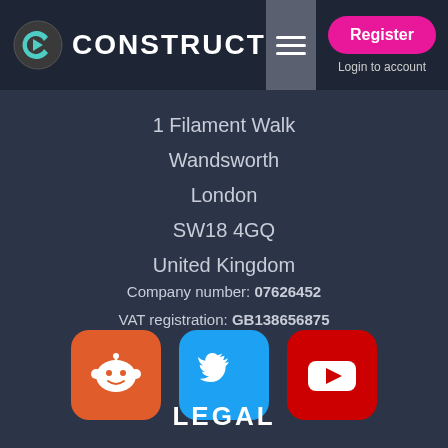Construct — Register | Login to account
1 Filament Walk
Wandsworth
London
SW18 4GQ
United Kingdom
Company number: 07626452
VAT registration: GB138656875
[Figure (logo): Reddit, Twitter, and YouTube social media icon buttons]
LEGAL